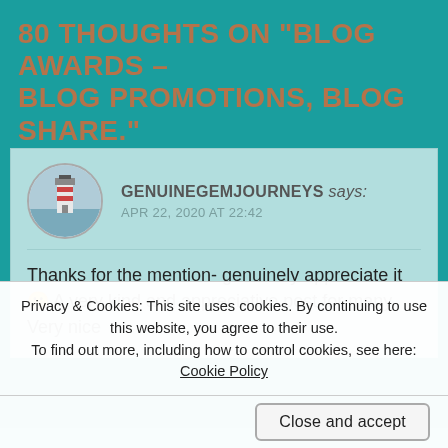80 THOUGHTS ON "BLOG AWARDS – BLOG PROMOTIONS, BLOG SHARE."
GENUINEGEMJOURNEYS says:
APR 22, 2020 AT 22:42
Thanks for the mention- genuinely appreciate it 🙂 A very kind and appreciative post for many. Very nice
Privacy & Cookies: This site uses cookies. By continuing to use this website, you agree to their use.
To find out more, including how to control cookies, see here: Cookie Policy
Close and accept